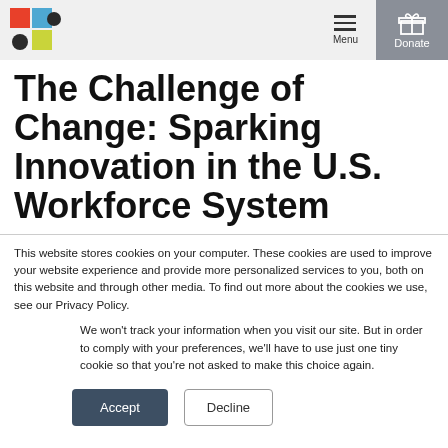Menu | Donate
The Challenge of Change: Sparking Innovation in the U.S. Workforce System
This website stores cookies on your computer. These cookies are used to improve your website experience and provide more personalized services to you, both on this website and through other media. To find out more about the cookies we use, see our Privacy Policy.
We won't track your information when you visit our site. But in order to comply with your preferences, we'll have to use just one tiny cookie so that you're not asked to make this choice again.
Accept | Decline